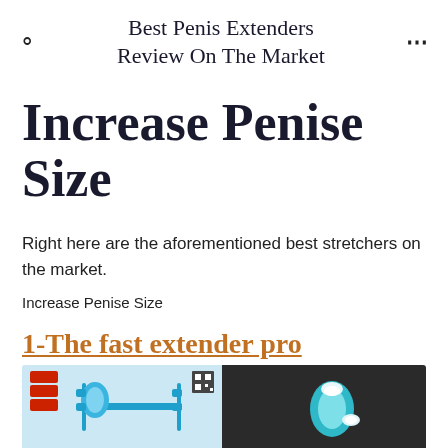Best Penis Extenders Review On The Market
Increase Penise Size
Right here are the aforementioned best stretchers on the market.
Increase Penise Size
1-The fast extender pro
[Figure (photo): Product photo showing a blue penis extender device from two angles on light and dark backgrounds]